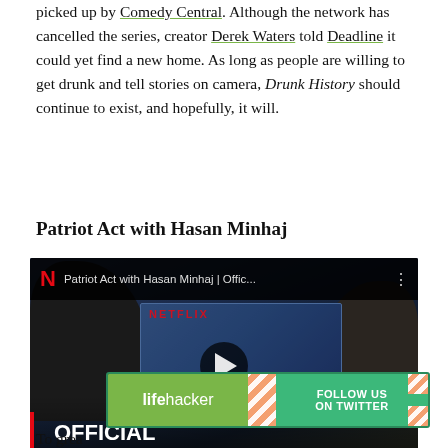picked up by Comedy Central. Although the network has cancelled the series, creator Derek Waters told Deadline it could yet find a new home. As long as people are willing to get drunk and tell stories on camera, Drunk History should continue to exist, and hopefully, it will.
Patriot Act with Hasan Minhaj
[Figure (screenshot): YouTube/Netflix video thumbnail for 'Patriot Act with Hasan Minhaj | Offic...' showing Netflix branding, silhouetted audience members, a blue-tinted presenter on an inner screen, a play button overlay, and 'OFFICIAL TRAILER' text at the bottom with a red vertical bar.]
[Figure (other): Lifehacker advertisement banner with green background showing 'lifehacker' logo on left and 'FOLLOW US ON TWITTER' on right with diagonal stripe divider.]
To grea...